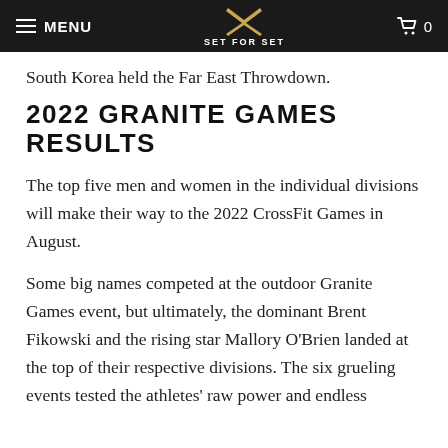MENU | SET FOR SET | 0
South Korea held the Far East Throwdown.
2022 GRANITE GAMES RESULTS
The top five men and women in the individual divisions will make their way to the 2022 CrossFit Games in August.
Some big names competed at the outdoor Granite Games event, but ultimately, the dominant Brent Fikowski and the rising star Mallory O’Brien landed at the top of their respective divisions. The six grueling events tested the athletes’ raw power and endless